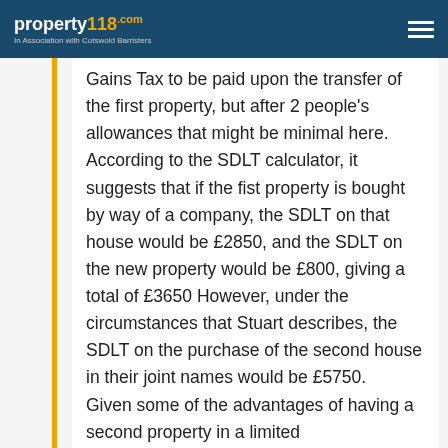property118.com - In Association with Cotswold Barristers
Gains Tax to be paid upon the transfer of the first property, but after 2 people's allowances that might be minimal here. According to the SDLT calculator, it suggests that if the fist property is bought by way of a company, the SDLT on that house would be £2850, and the SDLT on the new property would be £800, giving a total of £3650 However, under the circumstances that Stuart describes, the SDLT on the purchase of the second house in their joint names would be £5750. Given some of the advantages of having a second property in a limited